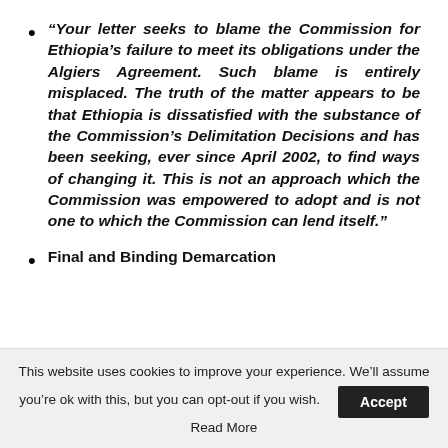“Your letter seeks to blame the Commission for Ethiopia’s failure to meet its obligations under the Algiers Agreement. Such blame is entirely misplaced. The truth of the matter appears to be that Ethiopia is dissatisfied with the substance of the Commission’s Delimitation Decisions and has been seeking, ever since April 2002, to find ways of changing it. This is not an approach which the Commission was empowered to adopt and is not one to which the Commission can lend itself.”
Final and Binding Demarcation
This website uses cookies to improve your experience. We’ll assume you’re ok with this, but you can opt-out if you wish. Accept Read More